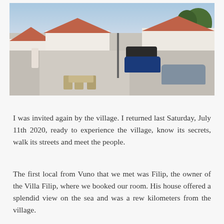[Figure (photo): Street scene of a Mediterranean village with white buildings with terracotta roofs, cars parked on a cobblestone street, outdoor cafe chairs and tables, a street lamp, and trees in the background under a clear blue sky.]
I was invited again by the village. I returned last Saturday, July 11th 2020, ready to experience the village, know its secrets, walk its streets and meet the people.
The first local from Vuno that we met was Filip, the owner of the Villa Filip, where we booked our room. His house offered a splendid view on the sea and was a rew kilometers from the village.